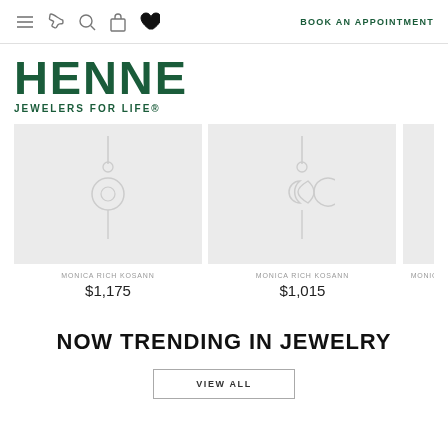BOOK AN APPOINTMENT
[Figure (logo): HENNE JEWELERS FOR LIFE logo in dark green]
[Figure (photo): Monica Rich Kosann sun pendant necklace on light gray background]
MONICA RICH KOSANN
$1,175
[Figure (photo): Monica Rich Kosann moon pendant necklace on light gray background]
MONICA RICH KOSANN
$1,015
[Figure (photo): Monica Rich Kosann partial necklace (cropped)]
MONICA
NOW TRENDING IN JEWELRY
VIEW ALL